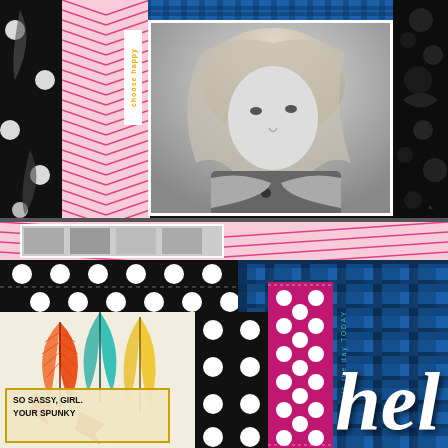[Figure (photo): Scrapbook layout split into two sections. Top section: black background with decorative paper strips including a black-and-white polka dot strip, pink herringbone/arrow pattern strip, a small white tag reading 'choose happy', and a central black-and-white portrait photo of a young blonde girl with her arms crossed wearing a floral top, framed by the pink herringbone paper. A blue plaid strip borders the top of the photo. A dark floral paper strip is on the far right. Bottom section: decorative paper strips including pink herringbone at top, wide black polka dot strip, feather-print paper on lower left, pink/magenta polka dot vertical strip in center, blue buffalo plaid on right side with white cursive 'hel' lettering, a vertical teal label reading 'is the day TODAY', and a small tag in the lower left corner reading 'SO SASSY, GIRL. YOUR SPUNKY']